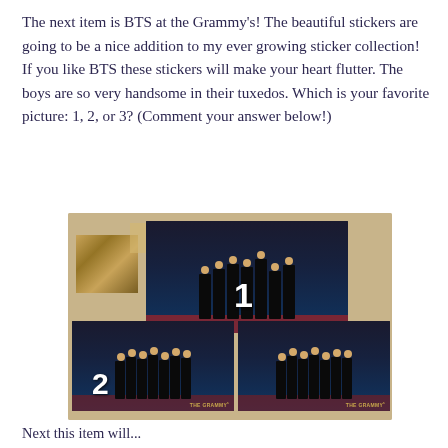The next item is BTS at the Grammy's! The beautiful stickers are going to be a nice addition to my ever growing sticker collection! If you like BTS these stickers will make your heart flutter. The boys are so very handsome in their tuxedos. Which is your favorite picture: 1, 2, or 3? (Comment your answer below!)
[Figure (photo): Three BTS Grammy stickers laid out on a beige surface. Sticker 1 (top center) shows BTS members in tuxedos at the Grammys with a number 1 overlaid. Sticker 2 (bottom left) shows BTS members with number 2 overlaid and THE GRAMMY's logo. Sticker 3 (bottom right) shows BTS members with number 3 overlaid and THE GRAMMY's logo. Background shows decorative art pieces on a tan wall.]
Next this item will...